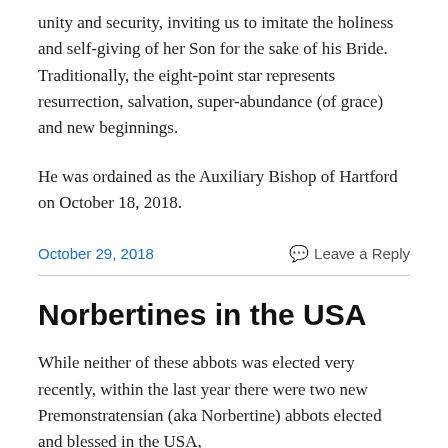unity and security, inviting us to imitate the holiness and self-giving of her Son for the sake of his Bride. Traditionally, the eight-point star represents resurrection, salvation, super-abundance (of grace) and new beginnings.
He was ordained as the Auxiliary Bishop of Hartford on October 18, 2018.
October 29, 2018
Leave a Reply
Norbertines in the USA
While neither of these abbots was elected very recently, within the last year there were two new Premonstratensian (aka Norbertine) abbots elected and blessed in the USA,